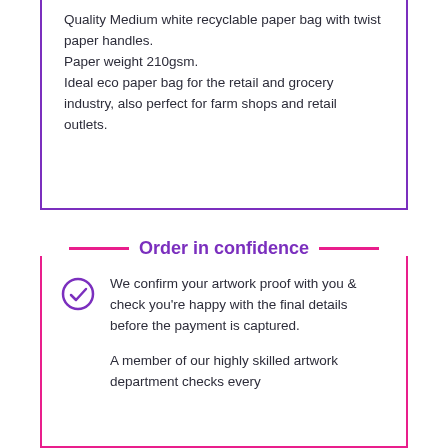Quality Medium white recyclable paper bag with twist paper handles.

Paper weight 210gsm.

Ideal eco paper bag for the retail and grocery industry, also perfect for farm shops and retail outlets.
Order in confidence
We confirm your artwork proof with you & check you're happy with the final details before the payment is captured.
A member of our highly skilled artwork department checks every